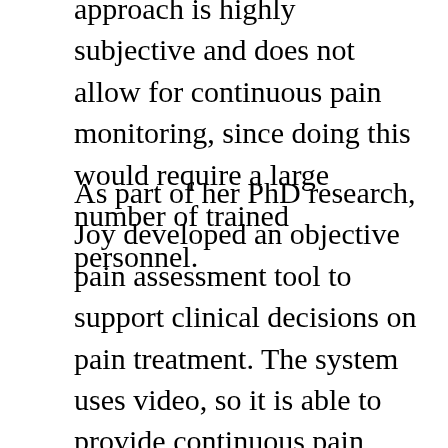approach is highly subjective and does not allow for continuous pain monitoring, since doing this would require a large number of trained personnel.
As part of her PhD research, Joy developed an objective pain assessment tool to support clinical decisions on pain treatment. The system uses video, so it is able to provide continuous pain monitoring [2]. However, its development was not straightforward. Originally though to be used to measure pain on newborns, the design had to be changed due to lack of data.
Even after obtaining NHS Ethics approval the data capture process was too cumbersome. It required a Kinect camera to be set up before each different procedure, which then needed to be taken off. This was too time consuming for the team at Queen's Medical Centre (QMC) in charge of data collection. This, in combination with low recruitment due to the sensitive